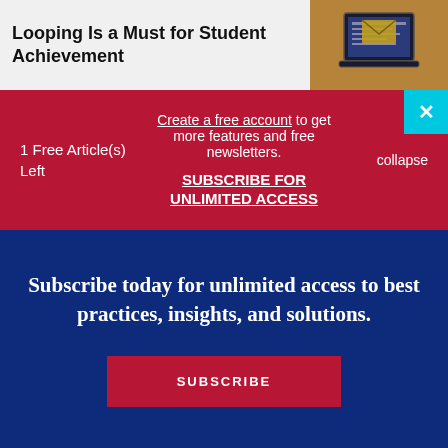Looping Is a Must for Student Achievement
[Figure (illustration): Laptop/computer icon on gold/brown background in top right corner]
1 Free Article(s) Left
Create a free account to get more features and free newsletters. SUBSCRIBE FOR UNLIMITED ACCESS
collapse
Subscribe today for unlimited access to best practices, insights, and solutions.
SUBSCRIBE